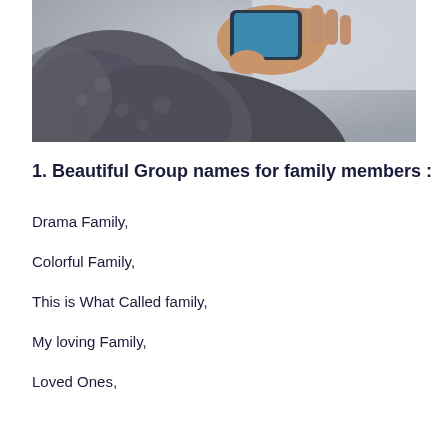[Figure (photo): Close-up photo of a person wearing a fuzzy gray coat holding a smartphone, with a light background visible.]
1. Beautiful Group names for family members :
Drama Family,
Colorful Family,
This is What Called family,
My loving Family,
Loved Ones,